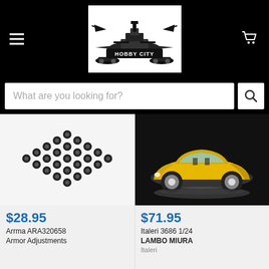[Figure (logo): Hobby City logo — black and white illustration with battleship, aircraft, and sports cars surrounding a banner reading HOBBY CITY]
What are you looking for?
[Figure (photo): Grid of small black hex/bolt fasteners arranged in a diamond pattern on a white background]
$28.95
Arrma ARA320658
Armor Adjustments
[Figure (photo): Yellow Lamborghini Miura sports car on dark background — product photo for model kit]
$71.95
Italeri 3686 1/24 LAMBO MIURA
Italeri